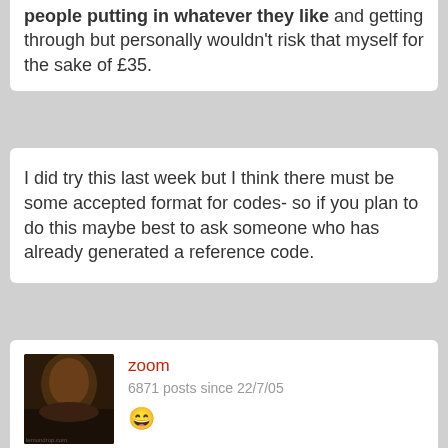people putting in whatever they like and getting through but personally wouldn't risk that myself for the sake of £35.
I did try this last week but I think there must be some accepted format for codes- so if you plan to do this maybe best to ask someone who has already generated a reference code.
zoom
6871 posts since 22/7/05
10 months ago
Decent food recommendations for Chicago?
Hanto
3550 posts since 30/11/09